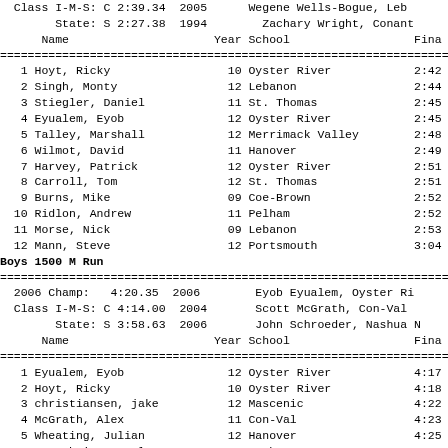| # | Name | Year | School | Finals |
| --- | --- | --- | --- | --- |
|  | Class I-M-S: C 2:39.34  2005 |  | Wegene Wells-Bogue, Leb |  |
|  | State: S 2:27.38  1994 |  | Zachary Wright, Conant |  |
|  | Name | Year | School | Fina |
| 1 | Hoyt, Ricky | 10 | Oyster River | 2:42 |
| 2 | Singh, Monty | 12 | Lebanon | 2:44 |
| 3 | Stiegler, Daniel | 11 | St. Thomas | 2:45 |
| 4 | Eyualem, Eyob | 12 | Oyster River | 2:45 |
| 5 | Talley, Marshall | 12 | Merrimack Valley | 2:48 |
| 6 | Wilmot, David | 11 | Hanover | 2:49 |
| 7 | Harvey, Patrick | 12 | Oyster River | 2:51 |
| 8 | Carroll, Tom | 12 | St. Thomas | 2:51 |
| 9 | Burns, Mike | 09 | Coe-Brown | 2:52 |
| 10 | Ridlon, Andrew | 11 | Pelham | 2:52 |
| 11 | Morse, Nick | 09 | Lebanon | 2:53 |
| 12 | Mann, Steve | 12 | Portsmouth | 3:04 |
Boys 1500 M Run
| # | Name | Year | School | Finals |
| --- | --- | --- | --- | --- |
|  | 2006 Champ:  4:20.35  2006 |  | Eyob Eyualem, Oyster Ri |  |
|  | Class I-M-S: C 4:14.00  2004 |  | Scott McGrath, Con-Val |  |
|  | State: S 3:58.63  2006 |  | John Schroeder, Nashua N |  |
|  | Name | Year | School | Fina |
| 1 | Eyualem, Eyob | 12 | Oyster River | 4:17 |
| 2 | Hoyt, Ricky | 10 | Oyster River | 4:18 |
| 3 | christiansen, jake | 12 | Mascenic | 4:22 |
| 4 | McGrath, Alex | 11 | Con-Val | 4:23 |
| 5 | Wheating, Julian | 12 | Hanover | 4:25 |
| 6 | Oppenheimer, Kyle | 10 | Sanborn | 4:28 |
| 7 | Gass, Tony | 12 | Oyster River | 4:30 |
| 8 | Stephens, Timothy | 11 | Hanover | 4:32 |
| 9 | Harvey, Patrick | 12 | Oyster River | 4:33 |
| 10 | Clark, Stephen | 10 | Lebanon | 4:33 |
| 11 | Burgess, Kevin | 10 | Raymond | 4:35 |